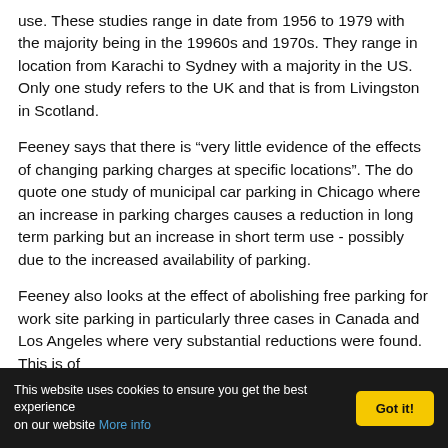use. These studies range in date from 1956 to 1979 with the majority being in the 19960s and 1970s. They range in location from Karachi to Sydney with a majority in the US. Only one study refers to the UK and that is from Livingston in Scotland.
Feeney says that there is “very little evidence of the effects of changing parking charges at specific locations". The do quote one study of municipal car parking in Chicago where an increase in parking charges causes a reduction in long term parking but an increase in short term use - possibly due to the increased availability of parking.
Feeney also looks at the effect of abolishing free parking for work site parking in particularly three cases in Canada and Los Angeles where very substantial reductions were found. This is of
This website uses cookies to ensure you get the best experience on our website More info